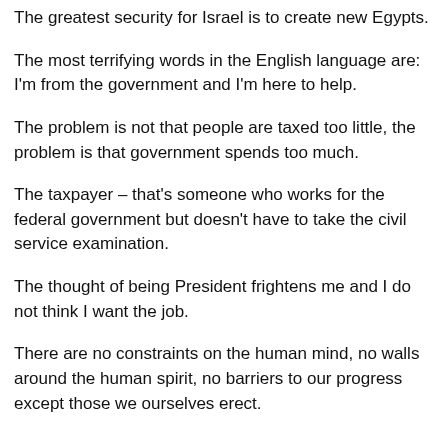The greatest security for Israel is to create new Egypts.
The most terrifying words in the English language are: I'm from the government and I'm here to help.
The problem is not that people are taxed too little, the problem is that government spends too much.
The taxpayer – that's someone who works for the federal government but doesn't have to take the civil service examination.
The thought of being President frightens me and I do not think I want the job.
There are no constraints on the human mind, no walls around the human spirit, no barriers to our progress except those we ourselves erect.